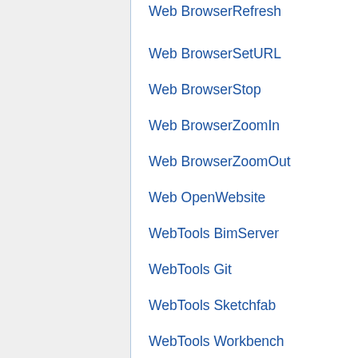Web BrowserRefresh
Web BrowserSetURL
Web BrowserStop
Web BrowserZoomIn
Web BrowserZoomOut
Web OpenWebsite
WebTools BimServer
WebTools Git
WebTools Sketchfab
WebTools Workbench
Whiffle Ball tutorial
Wikihouse porting tutorial